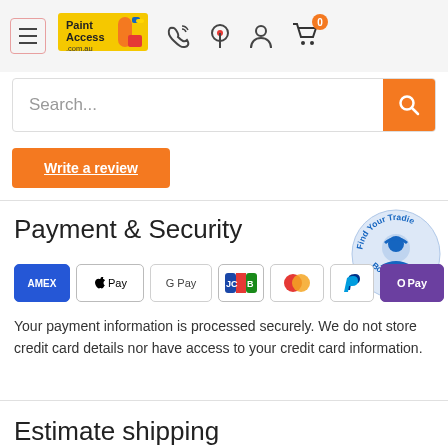[Figure (screenshot): Website header with hamburger menu, PaintAccess.com.au logo, phone icon, location pin icon, user icon, and shopping cart icon with badge showing 0]
[Figure (screenshot): Search bar with placeholder text 'Search...' and orange search button]
[Figure (screenshot): Orange 'Write a review' button with underlined text]
Payment & Security
[Figure (logo): Payment method icons: AMEX, Apple Pay, Google Pay, JCB, Mastercard, PayPal, OPay, VISA]
Your payment information is processed securely. We do not store credit card details nor have access to your credit card information.
[Figure (illustration): Find Your Tradie / BorisDoes circular badge with blue worker illustration]
Estimate shipping